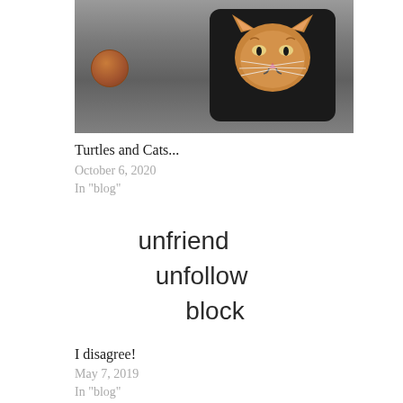[Figure (photo): Photo of a black plate/tile with a cat face painted on it, next to a penny coin, on a grey surface. The top portion of the image is cut off.]
Turtles and Cats...
October 6, 2020
In "blog"
unfriend
unfollow
block
I disagree!
May 7, 2019
In "blog"